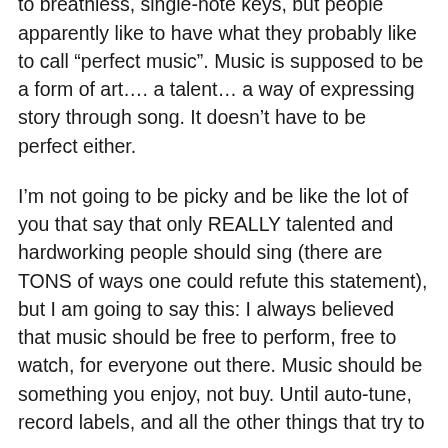what kind of person can even tolerate listening to breathless, single-note keys, but people apparently like to have what they probably like to call “perfect music”. Music is supposed to be a form of art…. a talent… a way of expressing story through song. It doesn’t have to be perfect either.
I’m not going to be picky and be like the lot of you that say that only REALLY talented and hardworking people should sing (there are TONS of ways one could refute this statement), but I am going to say this: I always believed that music should be free to perform, free to watch, for everyone out there. Music should be something you enjoy, not buy. Until auto-tune, record labels, and all the other things that try to